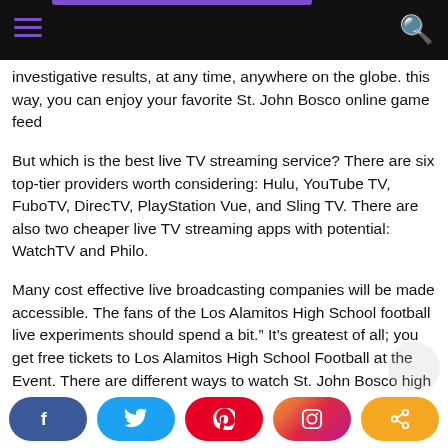[Navigation bar with hamburger menu and search icon]
investigative results, at any time, anywhere on the globe. this way, you can enjoy your favorite St. John Bosco online game feed
But which is the best live TV streaming service? There are six top-tier providers worth considering: Hulu, YouTube TV, FuboTV, DirecTV, PlayStation Vue, and Sling TV. There are also two cheaper live TV streaming apps with potential: WatchTV and Philo.
Many cost effective live broadcasting companies will be made accessible. The fans of the Los Alamitos High School football live experiments should spend a bit.” It's greatest of all; you get free tickets to Los Alamitos High School Football at the Event. There are different ways to watch St. John Bosco high school football games online. Any of what is the National Football League, NBC Sports, ABC, CBS, and FuboTV. This is channel 13
[Social share buttons: Facebook, Twitter, Pinterest, Instagram, Share]